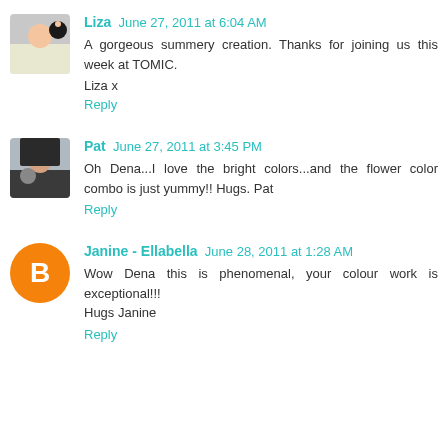Liza June 27, 2011 at 6:04 AM
A gorgeous summery creation. Thanks for joining us this week at TOMIC.

Liza x
Reply
Pat June 27, 2011 at 3:45 PM
Oh Dena...I love the bright colors...and the flower color combo is just yummy!! Hugs. Pat
Reply
Janine - Ellabella June 28, 2011 at 1:28 AM
Wow Dena this is phenomenal, your colour work is exceptional!!!
Hugs Janine
Reply